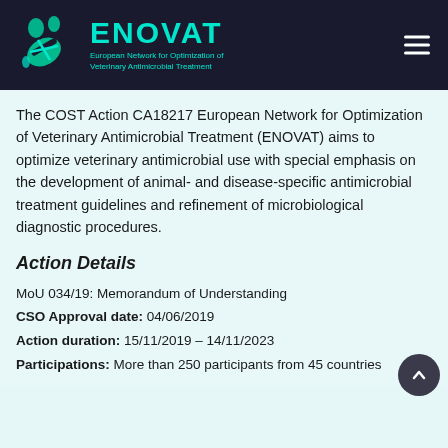ENOVAT — European Network for Optimization of Veterinary Antimicrobial Treatment
The COST Action CA18217 European Network for Optimization of Veterinary Antimicrobial Treatment (ENOVAT) aims to optimize veterinary antimicrobial use with special emphasis on the development of animal- and disease-specific antimicrobial treatment guidelines and refinement of microbiological diagnostic procedures.
Action Details
MoU 034/19: Memorandum of Understanding
CSO Approval date: 04/06/2019
Action duration: 15/11/2019 – 14/11/2023
Participations: More than 250 participants from 45 countries